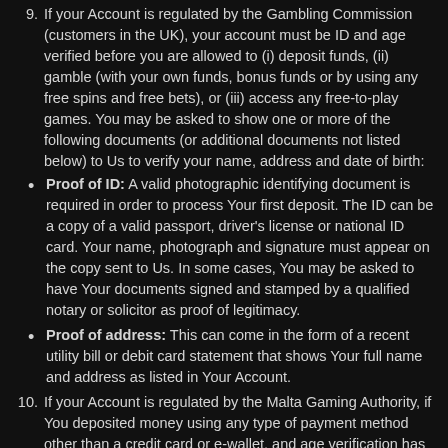9. If your Account is regulated by the Gambling Commission (customers in the UK), your account must be ID and age verified before you are allowed to (i) deposit funds, (ii) gamble (with your own funds, bonus funds or by using any free spins and free bets), or (iii) access any free-to-play games. You may be asked to show one or more of the following documents (or additional documents not listed below) to Us to verify your name, address and date of birth:
Proof of ID: A valid photographic identifying document is required in order to process Your first deposit. The ID can be a copy of a valid passport, driver's license or national ID card. Your name, photograph and signature must appear on the copy sent to Us. In some cases, You may be asked to have Your documents signed and stamped by a qualified notary or solicitor as proof of legitimacy.
Proof of address: This can come in the form of a recent utility bill or debit card statement that shows Your full name and address as listed in Your Account.
10. If your Account is regulated by the Malta Gaming Authority, if You deposited money using any type of payment method other than a credit card or e-wallet, and age verification has